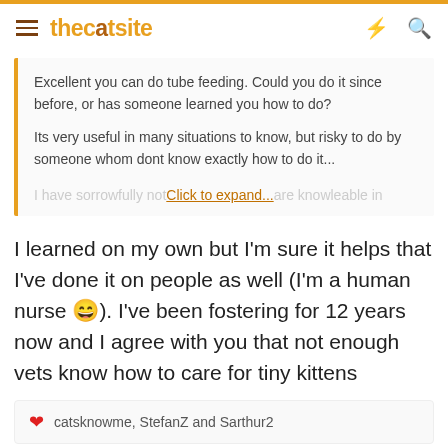thecatsite
Excellent you can do tube feeding. Could you do it since before, or has someone learned you how to do?

Its very useful in many situations to know, but risky to do by someone whom dont know exactly how to do it...

I have sorrowfully not... Click to expand... are knowleable in
I learned on my own but I'm sure it helps that I've done it on people as well (I'm a human nurse 😄). I've been fostering for 12 years now and I agree with you that not enough vets know how to care for tiny kittens
❤ catsknowme, StefanZ and Sarthur2